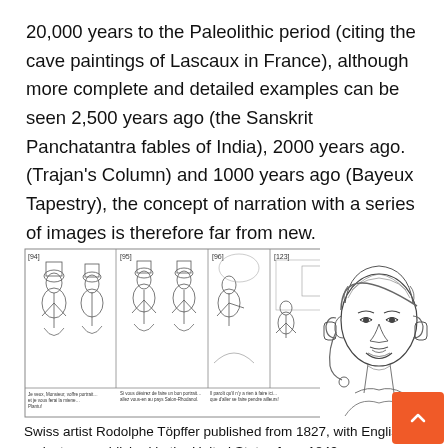20,000 years to the Paleolithic period (citing the cave paintings of Lascaux in France), although more complete and detailed examples can be seen 2,500 years ago (the Sanskrit Panchatantra fables of India), 2000 years ago. (Trajan's Column) and 1000 years ago (Bayeux Tapestry), the concept of narration with a series of images is therefore far from new.
[Figure (illustration): Left panel: multi-frame comic strip showing 19th century caricature figures in period dress, with handwritten captions beneath panels. Right panel: pencil sketch portrait of a person wearing a headset, smiling.]
Swiss artist Rodolphe Töpffer published from 1827, with English caricatures published in the United States from 1842